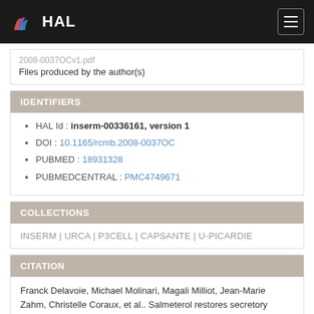HAL
2008-0037OCv1.pdf
Files produced by the author(s)
IDENTIFIERS
HAL Id : inserm-00336161, version 1
DOI : 10.1165/rcmb.2008-0037OC
PUBMED : 18931328
PUBMEDCENTRAL : PMC4749671
COLLECTIONS
INSERM | URCA | P3CELL | CAPSANTE | U-PICARDIE
CITATION
Franck Delavoie, Michael Molinari, Magali Milliot, Jean-Marie Zahm, Christelle Coraux, et al.. Salmeterol restores secretory functions in cystic fibrosis airway submucosal gland serous cells.. American Journal of Respiratory Cell and Molecular Biology, American Thoracic Society,